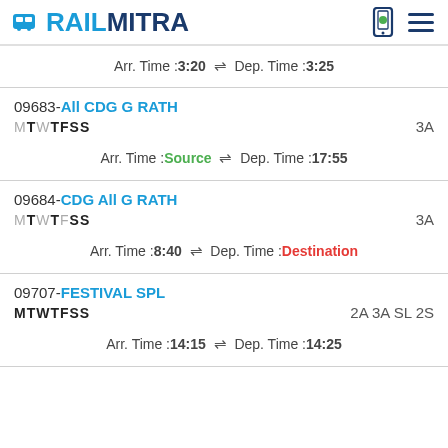RAILMITRA
Arr. Time :3:20  ⇌  Dep. Time :3:25
09683-All CDG G RATH
MTWTFSS  3A
Arr. Time :Source  ⇌  Dep. Time :17:55
09684-CDG All G RATH
MTWTFSS  3A
Arr. Time :8:40  ⇌  Dep. Time :Destination
09707-FESTIVAL SPL
MTWTFSS  2A 3A SL 2S
Arr. Time :14:15  ⇌  Dep. Time :14:25